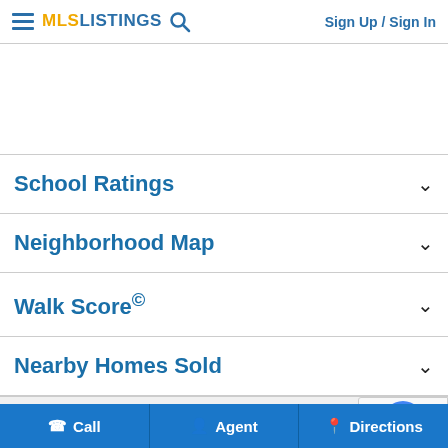MLS LISTINGS | Sign Up / Sign In
School Ratings
Neighborhood Map
Walk Score©
Nearby Homes Sold
417 Walcott St is a Single Family Residence in Manteca, CA 95336. This square foot property sits on a 5,897 Sq Ft Lot and features 2 bedroom
Call | Agent | Directions